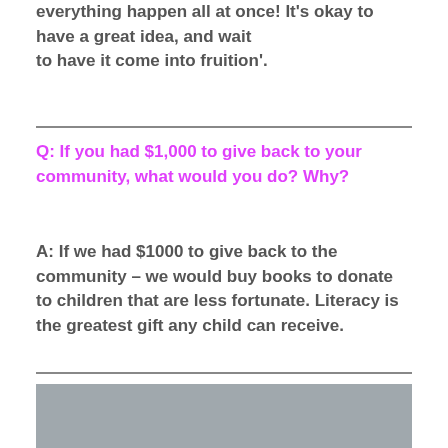everything happen all at once! It’s okay to have a great idea, and wait to have it come into fruition’.
Q: If you had $1,000 to give back to your community, what would you do? Why?
A: If we had $1000 to give back to the community – we would buy books to donate to children that are less fortunate. Literacy is the greatest gift any child can receive.
[Figure (photo): Gray photograph area at the bottom of the page]